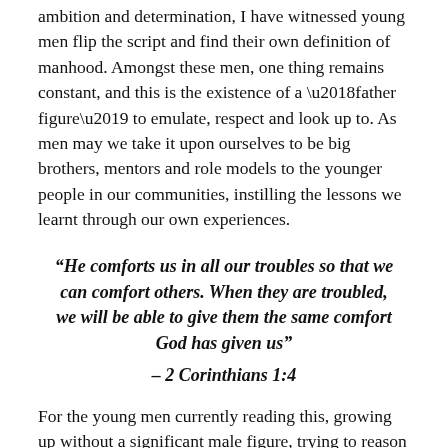ambition and determination, I have witnessed young men flip the script and find their own definition of manhood. Amongst these men, one thing remains constant, and this is the existence of a ‘father figure’ to emulate, respect and look up to. As men may we take it upon ourselves to be big brothers, mentors and role models to the younger people in our communities, instilling the lessons we learnt through our own experiences.
“He comforts us in all our troubles so that we can comfort others. When they are troubled, we will be able to give them the same comfort God has given us” – 2 Corinthians 1:4
For the young men currently reading this, growing up without a significant male figure, trying to reason with what it means to be a man. For the young black boys out there, struggling to make ends meet while trying to be a son and a provider. Find peace in the fact that you are not alone.